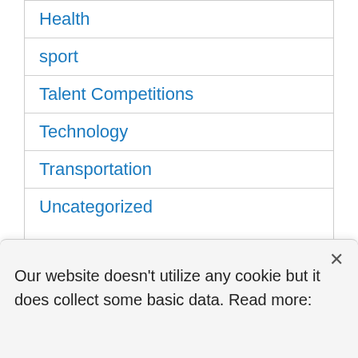Health
sport
Talent Competitions
Technology
Transportation
Uncategorized
ARCHIVES
Our website doesn't utilize any cookie but it does collect some basic data. Read more: